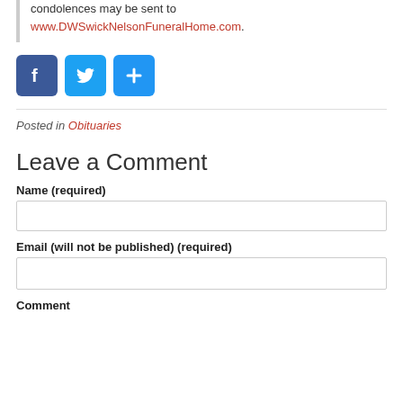condolences may be sent to www.DWSwickNelsonFuneralHome.com.
[Figure (other): Social media share buttons: Facebook (blue square with 'f'), Twitter (blue square with bird icon), and a blue share/plus button]
Posted in Obituaries
Leave a Comment
Name (required)
Email (will not be published) (required)
Comment